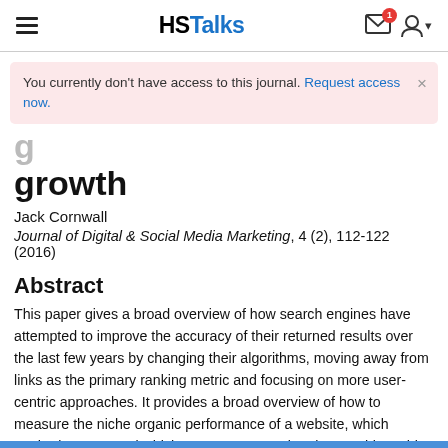HSTalks
You currently don't have access to this journal. Request access now.
growth
Jack Cornwall
Journal of Digital & Social Media Marketing, 4 (2), 112-122 (2016)
Abstract
This paper gives a broad overview of how search engines have attempted to improve the accuracy of their returned results over the last few years by changing their algorithms, moving away from links as the primary ranking metric and focusing on more user-centric approaches. It provides a broad overview of how to measure the niche organic performance of a website, which methods to use and which processes to undertake to achieve this. Off the back of